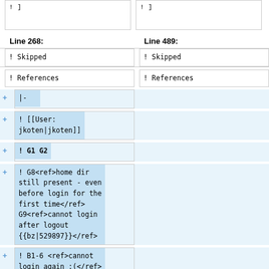| Line 268: | Line 489: |
| --- | --- |
| ! Skipped | ! Skipped |
| ! References | ! References |
|  | |- |
|  | ! [[User: jkoten|jkoten]] |
|  | ! G1 G2 |
|  | ! G8<ref>home dir still present - even before login for the first time</ref> G9<ref>cannot login after logout {{bz|529897}}</ref> |
|  | ! B1-6 <ref>cannot login again :(</ref> |